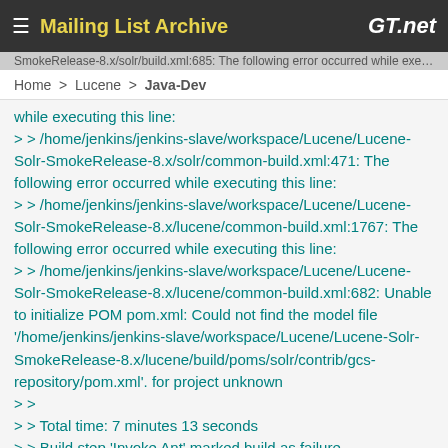≡ Mailing List Archive   GT.net
Home > Lucene > Java-Dev
while executing this line:
> > /home/jenkins/jenkins-slave/workspace/Lucene/Lucene-Solr-SmokeRelease-8.x/solr/common-build.xml:471: The following error occurred while executing this line:
> > /home/jenkins/jenkins-slave/workspace/Lucene/Lucene-Solr-SmokeRelease-8.x/lucene/common-build.xml:1767: The following error occurred while executing this line:
> > /home/jenkins/jenkins-slave/workspace/Lucene/Lucene-Solr-SmokeRelease-8.x/lucene/common-build.xml:682: Unable to initialize POM pom.xml: Could not find the model file '/home/jenkins/jenkins-slave/workspace/Lucene/Lucene-Solr-SmokeRelease-8.x/lucene/build/poms/solr/contrib/gcs-repository/pom.xml'. for project unknown
> >
> > Total time: 7 minutes 13 seconds
> > Build step 'Invoke Ant' marked build as failure
> > Setting JDK_1_9_LATEST_HOME=/home/jenkins/tools/java/latest1.9
> > Email was triggered for: Failure - Any